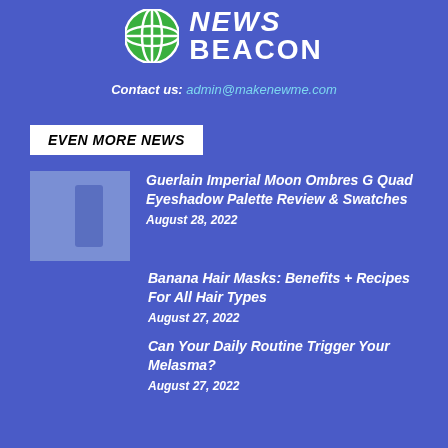[Figure (logo): News Beacon logo with green globe icon and white bold italic NEWS BEACON text]
Contact us: admin@makenewme.com
EVEN MORE NEWS
[Figure (photo): Thumbnail image of a blue/purple cosmetic product]
Guerlain Imperial Moon Ombres G Quad Eyeshadow Palette Review & Swatches
August 28, 2022
Banana Hair Masks: Benefits + Recipes For All Hair Types
August 27, 2022
Can Your Daily Routine Trigger Your Melasma?
August 27, 2022